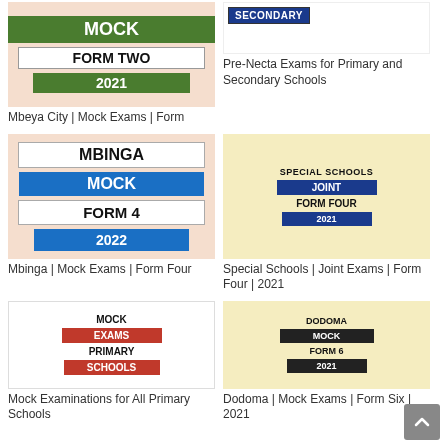[Figure (illustration): Mbeya City Mock Form Two 2021 exam thumbnail - green background with MOCK, FORM TWO, 2021 labels]
Mbeya City | Mock Exams | Form
[Figure (illustration): Secondary school Pre-Necta exams thumbnail with SECONDARY badge]
Pre-Necta Exams for Primary and Secondary Schools
[Figure (illustration): Mbinga Mock Form 4 2022 exam thumbnail - peach background with MBINGA, MOCK, FORM 4, 2022 labels]
Mbinga | Mock Exams | Form Four
[Figure (illustration): Special Schools Joint Form Four 2021 exam thumbnail - yellow background]
Special Schools | Joint Exams | Form Four | 2021
[Figure (illustration): Mock Exams Primary Schools thumbnail with red EXAMS and SCHOOLS badges]
Mock Examinations for All Primary Schools
[Figure (illustration): Dodoma Mock Form 6 2021 exam thumbnail - yellow background with dark MOCK and 2021 badges]
Dodoma | Mock Exams | Form Six | 2021